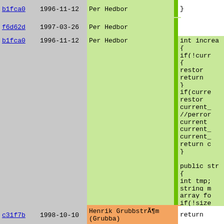| hash | date | author | bar | code |
| --- | --- | --- | --- | --- |
| b1fca0 | 1996-11-12 | Per Hedbor | | | } |
| f6d62d | 1997-03-26 | Per Hedbor | | |  |
| b1fca0 | 1996-11-12 | Per Hedbor | | | int increa
{
   if(!curr
   {
      restor
      return
   }
   if(curre
      restor
   current_
   //perror
   current_
   current_
   current_
   return c
}

public str
{
   int tmp;
   string m
   array fo
   if(!size |
| c31f7b | 1998-10-10 | Henrik GrubbstrÃ¶m (Grubba) | | | return |